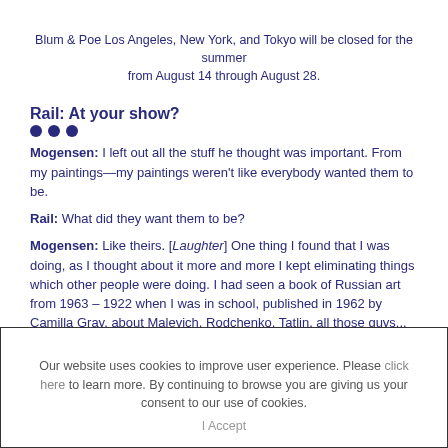Blum & Poe Los Angeles, New York, and Tokyo will be closed for the summer from August 14 through August 28.
Rail: At your show?
Mogensen: I left out all the stuff he thought was important. From my paintings—my paintings weren't like everybody wanted them to be.
Rail: What did they want them to be?
Mogensen: Like theirs. [Laughter] One thing I found that I was doing, as I thought about it more and more I kept eliminating things which other people were doing. I had seen a book of Russian art from 1963 – 1922 when I was in school, published in 1962 by Camilla Gray, about Malevich, Rodchenko, Tatlin, all those guys... and so I saw that before I learned how to draw a nude like Rubens, so the stuff in this book meant more to me than classical art, or drawing from nature. Everything I encountered I just absorbed it.
Rail: So you absorbed all this stuff, some of which is in your work, but
Our website uses cookies to improve user experience. Please click here to learn more. By continuing to browse you are giving us your consent to our use of cookies. I Accept